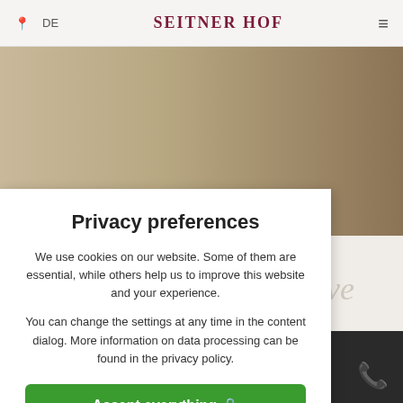DE  SEITNER HOF  ≡
[Figure (photo): Hotel room photo strip showing bed with decorative pillows and sitting area with sofa and coffee table]
Privacy preferences
We use cookies on our website. Some of them are essential, while others help us to improve this website and your experience.
You can change the settings at any time in the content dialog. More information on data processing can be found in the privacy policy.
Accept everything 🔒
Only essential cookies
Individual cookie settings
Privacy policy | Legal Notice